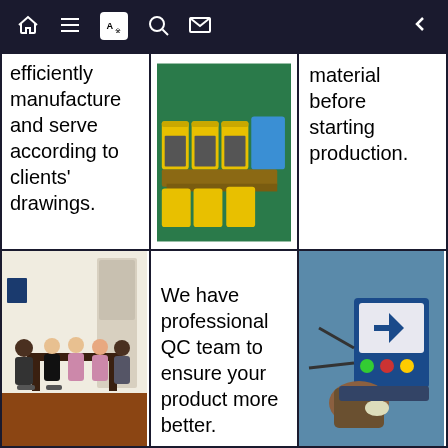Navigation bar with home, list, translate, search, mail, and back icons
efficiently manufacture and serve according to clients' drawings.
[Figure (photo): Factory floor with yellow bins and metal parts on wooden pallets]
material before starting production.
[Figure (photo): Meeting room with people seated around a table having a discussion]
We have professional QC team to ensure your product more better.
[Figure (photo): Worker operating industrial testing or control equipment with blue display]